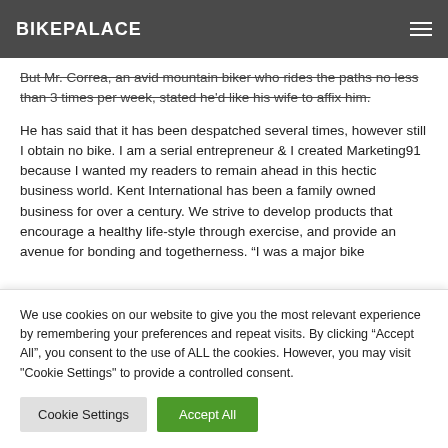BIKEPALACE
But Mr. Correa, an avid mountain biker who rides the paths no less than 3 times per week, stated he'd like his wife to affix him.
He has said that it has been despatched several times, however still I obtain no bike. I am a serial entrepreneur & I created Marketing91 because I wanted my readers to remain ahead in this hectic business world. Kent International has been a family owned business for over a century. We strive to develop products that encourage a healthy life-style through exercise, and provide an avenue for bonding and togetherness. “I was a major bike rider hitting down a continuous spin in this all…
We use cookies on our website to give you the most relevant experience by remembering your preferences and repeat visits. By clicking “Accept All”, you consent to the use of ALL the cookies. However, you may visit "Cookie Settings" to provide a controlled consent.